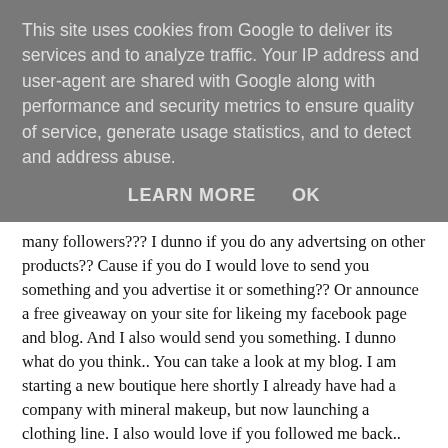This site uses cookies from Google to deliver its services and to analyze traffic. Your IP address and user-agent are shared with Google along with performance and security metrics to ensure quality of service, generate usage statistics, and to detect and address abuse.
LEARN MORE   OK
many followers??? I dunno if you do any advertsing on other products?? Cause if you do I would love to send you something and you advertise it or something?? Or announce a free giveaway on your site for likeing my facebook page and blog. And I also would send you something. I dunno what do you think.. You can take a look at my blog. I am starting a new boutique here shortly I already have had a company with mineral makeup, but now launching a clothing line. I also would love if you followed me back.. -Brooke xoxo blushboutiquestyle.blogspot.com
20 November 2011 at 02:45
Anonymous said...
Ooooh thanks for this post and your nice